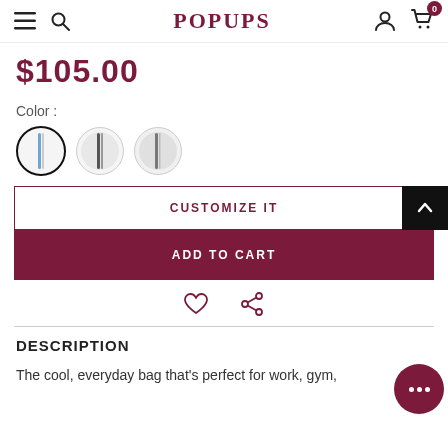POPUPS — navigation bar with menu, search, account, cart (0)
$105.00
Color :
[Figure (other): Three circular color swatches: first selected (blue stripe), second (black/white stripe), third (grey/black stripe)]
CUSTOMIZE IT
ADD TO CART
[Figure (other): Heart (wishlist) icon and share icon]
DESCRIPTION
The cool, everyday bag that's perfect for work, gym,